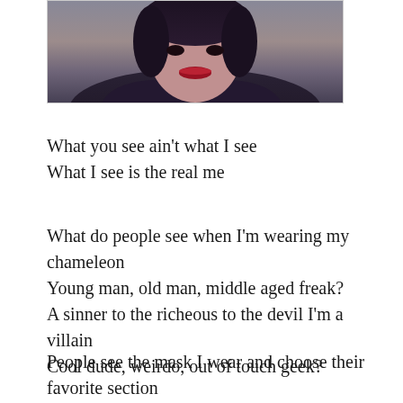[Figure (photo): A cropped portrait photo of a person with dark hair, wearing a dark feathered or furred garment and a choker necklace, with dramatic makeup. Only the lower face and upper body are visible.]
What you see ain't what I see
What I see is the real me
What do people see when I'm wearing my chameleon
Young man, old man, middle aged freak?
A sinner to the richeous to the devil I'm a villain
Cool dude, weirdo, out of touch geek?
People see the mask I wear and choose their favorite section
I look in the tragic mirror to see my own reflection
I reveal the piece of me which I choose for your display